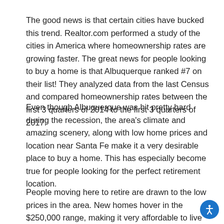The good news is that certain cities have bucked this trend. Realtor.com performed a study of the cities in America where homeownership rates are growing faster. The great news for people looking to buy a home is that Albuquerque ranked #7 on their list! They analyzed data from the last Census and compared homeownership rates between the first 3 quarters of 2014 to the first 3 quarters of 2017.
Even though Albuquerque was hit pretty hard during the recession, the area's climate and amazing scenery, along with low home prices and location near Santa Fe make it a very desirable place to buy a home. This has especially become true for people looking for the perfect retirement location.
People moving here to retire are drawn to the low prices in the area. New homes hover in the $250,000 range, making it very affordable to live here.